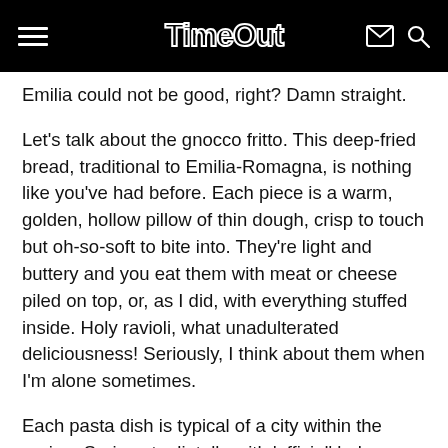TimeOut
Emilia could not be good, right? Damn straight.
Let's talk about the gnocco fritto. This deep-fried bread, traditional to Emilia-Romagna, is nothing like you've had before. Each piece is a warm, golden, hollow pillow of thin dough, crisp to touch but oh-so-soft to bite into. They're light and buttery and you eat them with meat or cheese piled on top, or, as I did, with everything stuffed inside. Holy ravioli, what unadulterated deliciousness! Seriously, I think about them when I'm alone sometimes.
Each pasta dish is typical of a city within the region. Springy tagliatelle with 'official' bolognese sauce was wonderfully creamy (the traditional recipe from Bologna uses whole milk), alongside punchier flavours of red wine